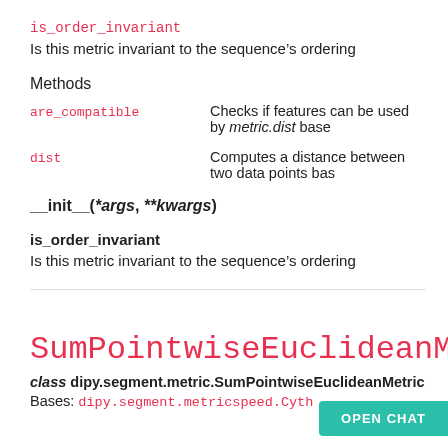is_order_invariant
Is this metric invariant to the sequence's ordering
Methods
are_compatible   Checks if features can be used by metric.dist base...
dist   Computes a distance between two data points bas...
__init__(*args, **kwargs)
is_order_invariant
Is this metric invariant to the sequence’s ordering
SumPointwiseEuclideanMetric
class dipy.segment.metric.SumPointwiseEuclideanMetric
Bases: dipy.segment.metricspeed.Cyth...